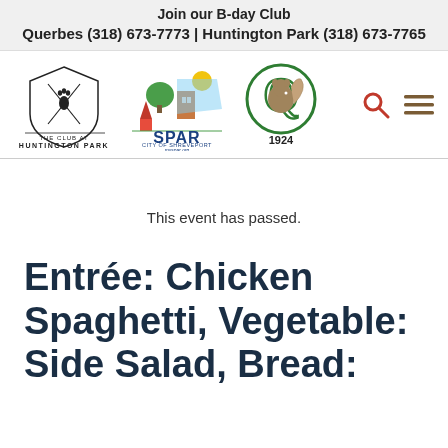Join our B-day Club
Querbes (318) 673-7773 | Huntington Park (318) 673-7765
[Figure (logo): Logos: The Club at Huntington Park, SPAR City of Shreveport (myspar.org), Q 1924 squirrel logo, search icon, hamburger menu icon]
This event has passed.
Entrée: Chicken Spaghetti, Vegetable: Side Salad, Bread: